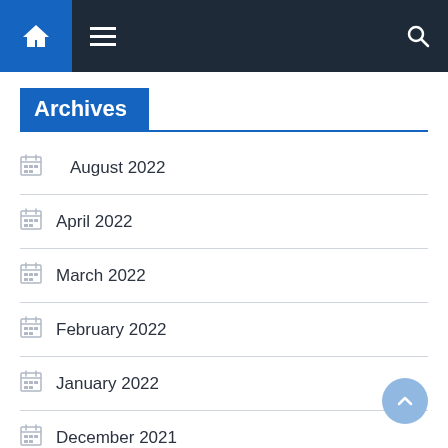Navigation bar with home, menu, and search icons
Archives
August 2022
April 2022
March 2022
February 2022
January 2022
December 2021
November 2021
October 2021